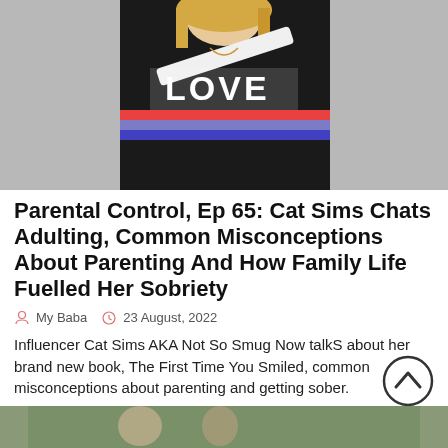[Figure (photo): A blonde woman wearing a black sweatshirt with 'LOVE' written on it and rainbow/colorful stripe across the chest, photographed against a grey background.]
Parental Control, Ep 65: Cat Sims Chats Adulting, Common Misconceptions About Parenting And How Family Life Fuelled Her Sobriety
My Baba   23 August, 2022
Influencer Cat Sims AKA Not So Smug Now talkS about her brand new book, The First Time You Smiled, common misconceptions about parenting and getting sober.
[Figure (photo): Bottom portion of a second photo, partially visible, showing a person outdoors.]